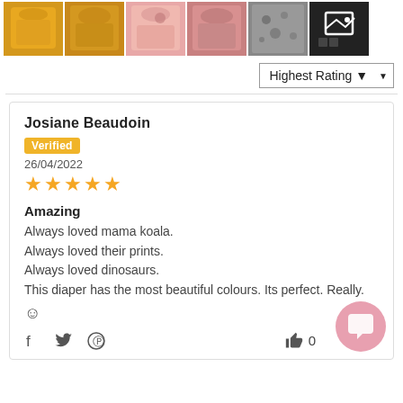[Figure (photo): Strip of 6 product thumbnail images showing cloth diapers in yellow, pink, patterned, and dark colors]
Highest Rating ▼
Josiane Beaudoin
Verified
26/04/2022
★★★★★

Amazing
Always loved mama koala.
Always loved their prints.
Always loved dinosaurs.
This diaper has the most beautiful colours. Its perfect. Really.
😊
0